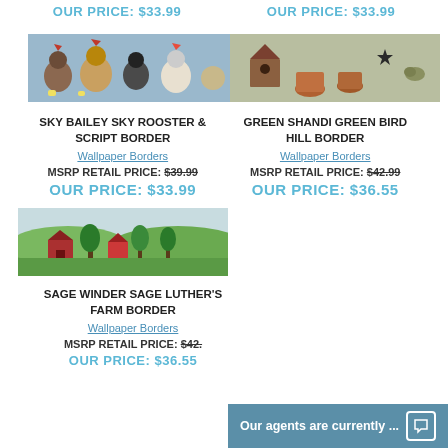OUR PRICE: $33.99
OUR PRICE: $33.99
[Figure (photo): Wallpaper border with roosters and chickens on blue background]
SKY BAILEY SKY ROOSTER & SCRIPT BORDER
Wallpaper Borders
MSRP RETAIL PRICE: $39.99
OUR PRICE: $33.99
[Figure (photo): Wallpaper border with birdhouses and garden pots on green/sage background]
GREEN SHANDI GREEN BIRD HILL BORDER
Wallpaper Borders
MSRP RETAIL PRICE: $42.99
OUR PRICE: $36.55
[Figure (photo): Wallpaper border with farm landscape, red barns and trees]
SAGE WINDER SAGE LUTHER'S FARM BORDER
Wallpaper Borders
MSRP RETAIL PRICE: $42.--
OUR PRICE: $36.55